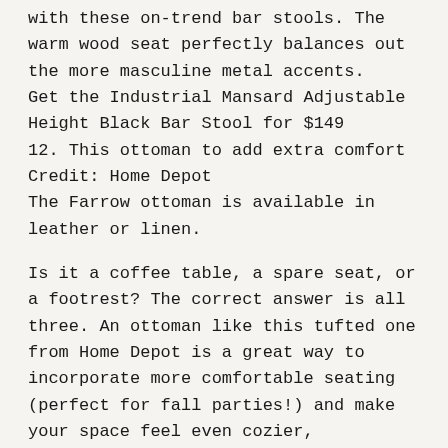with these on-trend bar stools. The warm wood seat perfectly balances out the more masculine metal accents.
Get the Industrial Mansard Adjustable Height Black Bar Stool for $149
12. This ottoman to add extra comfort Credit: Home Depot
The Farrow ottoman is available in leather or linen.
Is it a coffee table, a spare seat, or a footrest? The correct answer is all three. An ottoman like this tufted one from Home Depot is a great way to incorporate more comfortable seating (perfect for fall parties!) and make your space feel even cozier, especially if it's paired with an equally plush sofa or a soft throw.